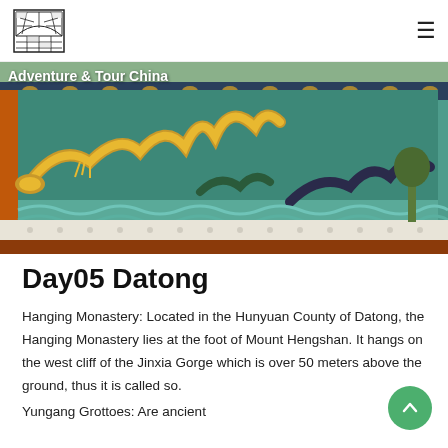Adventure & Tour China
[Figure (photo): Photo of a colorful Nine Dragon Wall (Jiulong Bi) showing large ornate glazed tile dragons in gold and blue-green colors with traditional Chinese architectural detailing, taken from a low angle perspective.]
Day05 Datong
Hanging Monastery: Located in the Hunyuan County of Datong, the Hanging Monastery lies at the foot of Mount Hengshan. It hangs on the west cliff of the Jinxia Gorge which is over 50 meters above the ground, thus it is called so.
Yungang Grottoes: Are ancient